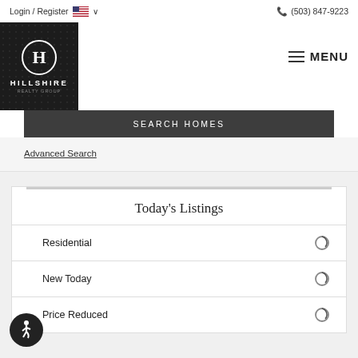Login / Register   (503) 847-9223
[Figure (logo): Hillshire Realty Group logo — black background with H in circle and HILLSHIRE text]
MENU
SEARCH HOMES
Advanced Search
Today's Listings
Residential
New Today
Price Reduced